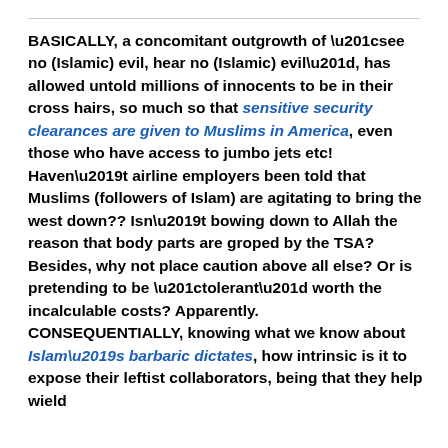BASICALLY, a concomitant outgrowth of “see no (Islamic) evil, hear no (Islamic) evil”, has allowed untold millions of innocents to be in their cross hairs, so much so that sensitive security clearances are given to Muslims in America, even those who have access to jumbo jets etc! Haven’t airline employers been told that Muslims (followers of Islam) are agitating to bring the west down?? Isn’t bowing down to Allah the reason that body parts are groped by the TSA? Besides, why not place caution above all else? Or is pretending to be “tolerant” worth the incalculable costs? Apparently. CONSEQUENTIALLY, knowing what we know about Islam’s barbaric dictates, how intrinsic is it to expose their leftist collaborators, being that they help wield